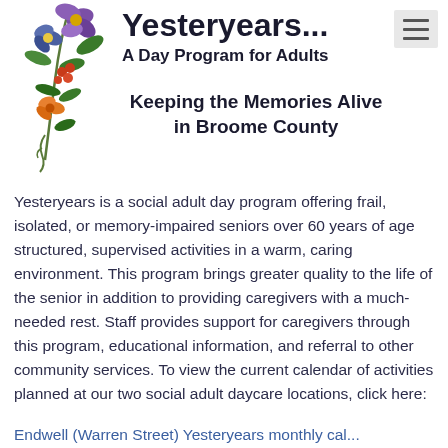[Figure (illustration): Decorative floral illustration with purple, blue, and orange flowers with green leaves cascading vertically on the left side of the header]
Yesteryears... A Day Program for Adults
Keeping the Memories Alive in Broome County
Yesteryears is a social adult day program offering frail, isolated, or memory-impaired seniors over 60 years of age structured, supervised activities in a warm, caring environment. This program brings greater quality to the life of the senior in addition to providing caregivers with a much-needed rest. Staff provides support for caregivers through this program, educational information, and referral to other community services. To view the current calendar of activities planned at our two social adult daycare locations, click here:
Endwell (Warren Street) Yesteryears monthly cal...